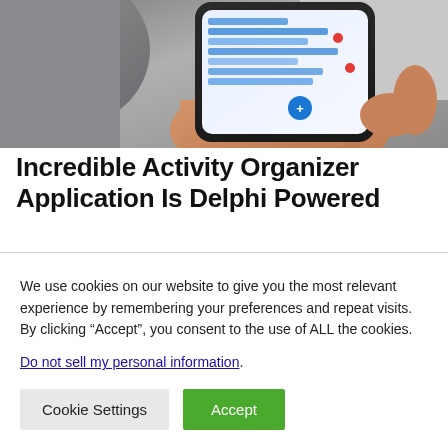[Figure (photo): Person holding a smartphone displaying a scheduling or activity organizer application interface with blue and red elements on the screen.]
Incredible Activity Organizer Application Is Delphi Powered
We use cookies on our website to give you the most relevant experience by remembering your preferences and repeat visits. By clicking “Accept”, you consent to the use of ALL the cookies.
Do not sell my personal information.